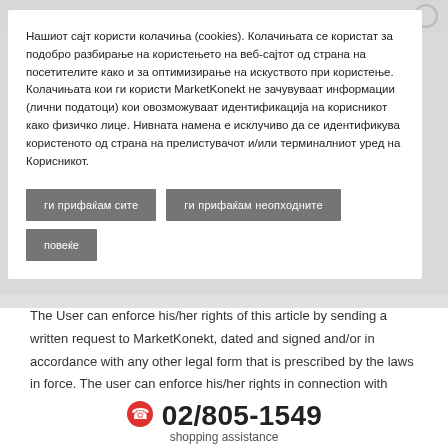Нашиот сајт користи колачиња (cookies). Колачињата се користат за подобро разбирање на користењето на веб-сајтот од страна на посетителите како и за оптимизирање на искуството при користење. Колачињата кои ги користи MarketKonekt не зачувуваат информации (лични податоци) кои овозможуваат идентификација на корисникот како физичко лице. Нивната намена е исклучиво да се идентификува користеното од страна на прелистувачот и/или терминалниот уред на Корисникот.
ги прифаќам сите
ги прифаќам неопходните
повеќе
The User can enforce his/her rights of this article by sending a written request to MarketKonekt, dated and signed and/or in accordance with any other legal form that is prescribed by the laws in force. The user can enforce his/her rights in connection with his/her data, individually or through an authorized person (with the power of attorney verified by a notary public).
02/805-1549
shopping assistance